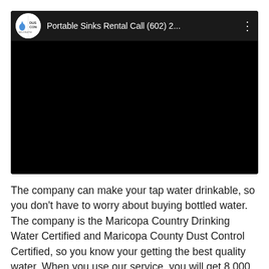[Figure (screenshot): YouTube-style video embed with black video area. Header shows channel logo (circular, white background with 'DUS CON' text and phone number 602-228-6753) and video title 'Portable Sinks Rental Call (602) 2...' with a vertical three-dot menu icon. The main video area is entirely black.]
The company can make your tap water drinkable, so you don't have to worry about buying bottled water. The company is the Maricopa Country Drinking Water Certified and Maricopa County Dust Control Certified, so you know your getting the best quality water. When you use our service, you will get 8,000 + Gallon per hour capability, so it comes out fast.